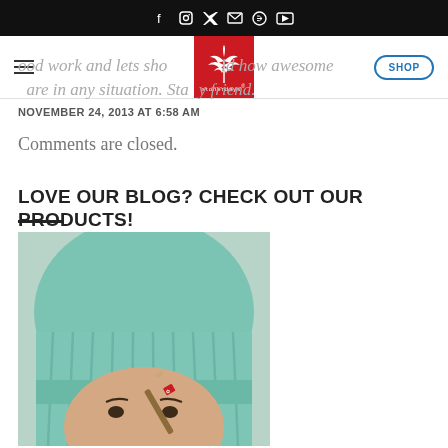Social icons bar: f, instagram, twitter, email, pinterest, youtube
Navigation bar with hamburger menu, StonerDays logo, and SHOP button
...ood work and lets sho...ld how awesome ...are in any situation. Stay...y friend.
NOVEMBER 24, 2013 AT 6:58 AM
Comments are closed.
LOVE OUR BLOG? CHECK OUT OUR PRODUCTS!
[Figure (photo): Young woman wearing a mint/teal knit beanie hat with a joint tucked behind her ear, red StonerDays clip on the joint]